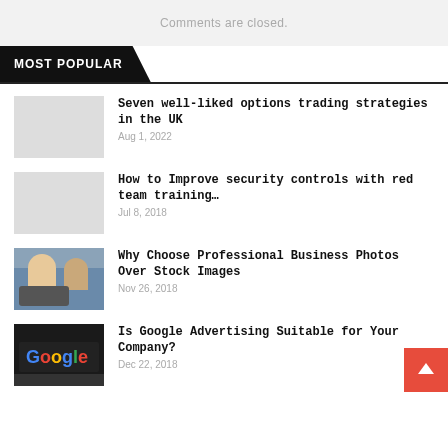Comments are closed.
MOST POPULAR
Seven well-liked options trading strategies in the UK
Aug 1, 2022
How to Improve security controls with red team training…
Jul 8, 2018
Why Choose Professional Business Photos Over Stock Images
Nov 26, 2018
Is Google Advertising Suitable for Your Company?
Dec 22, 2018